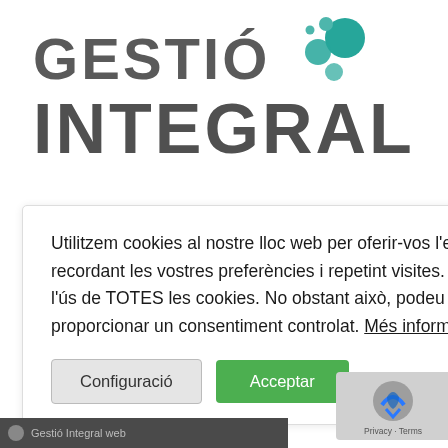[Figure (logo): Gestió Integral logo with grey bold text and teal bubble circles decoration]
Utilitzem cookies al nostre lloc web per oferir-vos l'experiència més rellevant recordant les vostres preferències i repetint visites. En fer clic a "Accepta", accepteu l'ús de TOTES les cookies. No obstant això, podeu visitar "Configuració" per proporcionar un consentiment controlat. Més informació
Configuració   Acceptar